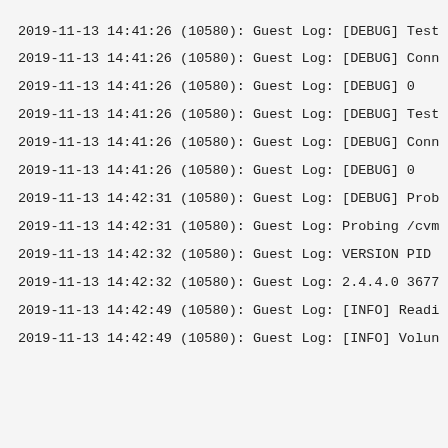2019-11-13 14:41:26 (10580): Guest Log: [DEBUG] Test
2019-11-13 14:41:26 (10580): Guest Log: [DEBUG] Conn
2019-11-13 14:41:26 (10580): Guest Log: [DEBUG] 0
2019-11-13 14:41:26 (10580): Guest Log: [DEBUG] Test
2019-11-13 14:41:26 (10580): Guest Log: [DEBUG] Conn
2019-11-13 14:41:26 (10580): Guest Log: [DEBUG] 0
2019-11-13 14:42:31 (10580): Guest Log: [DEBUG] Prob
2019-11-13 14:42:31 (10580): Guest Log: Probing /cvm
2019-11-13 14:42:32 (10580): Guest Log: VERSION PID
2019-11-13 14:42:32 (10580): Guest Log: 2.4.4.0 3677
2019-11-13 14:42:49 (10580): Guest Log: [INFO] Readi
2019-11-13 14:42:49 (10580): Guest Log: [INFO] Volun